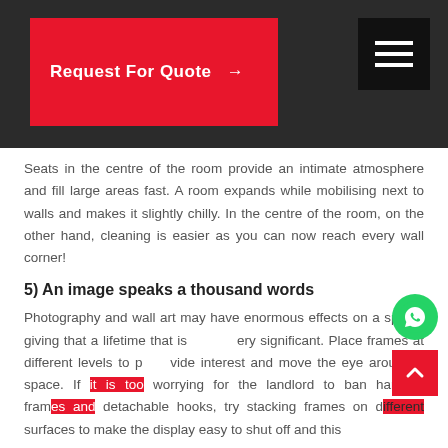[Figure (other): Red 'Request For Quote' button with arrow on dark background header, and black hamburger menu icon on the right]
Seats in the centre of the room provide an intimate atmosphere and fill large areas fast. A room expands while mobilising next to walls and makes it slightly chilly. In the centre of the room, on the other hand, cleaning is easier as you can now reach every wall corner!
5) An image speaks a thousand words
Photography and wall art may have enormous effects on a space, giving that a lifetime that is very significant. Place frames at different levels to provide interest and move the eye around a space. If it is too worrying for the landlord to ban hanging frames and detachable hooks, try stacking frames on different surfaces to make the display easy to shut off and this